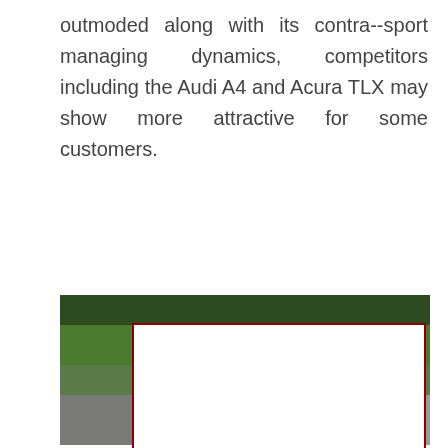outmoded along with its contra--sport managing dynamics, competitors including the Audi A4 and Acura TLX may show more attractive for some customers.
[Figure (photo): Outdoor scene showing trees and a road/driveway in the background, with a large white rectangle outlined in dark red overlaid on top of the photo.]